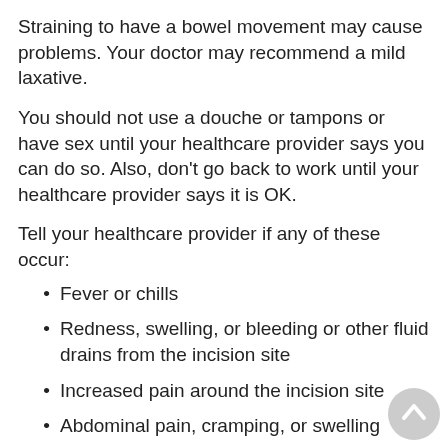Straining to have a bowel movement may cause problems. Your doctor may recommend a mild laxative.
You should not use a douche or tampons or have sex until your healthcare provider says you can do so. Also, don't go back to work until your healthcare provider says it is OK.
Tell your healthcare provider if any of these occur:
Fever or chills
Redness, swelling, or bleeding or other fluid drains from the incision site
Increased pain around the incision site
Abdominal pain, cramping, or swelling
Increased vaginal bleeding or passing of tissue or other drainage
You will need to see your healthcare provider for a